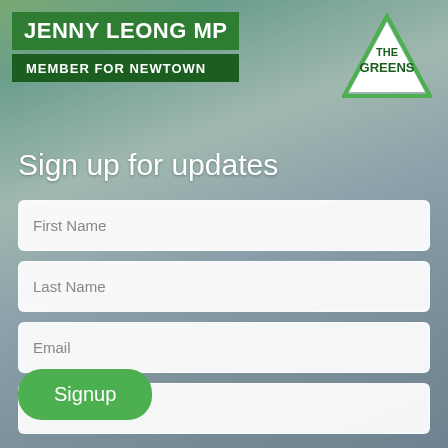JENNY LEONG MP
MEMBER FOR NEWTOWN
[Figure (logo): The Greens party logo — green triangle outline with 'THE GREENS' text inside]
Sign up for updates
First Name
Last Name
Email
Postcode
Signup